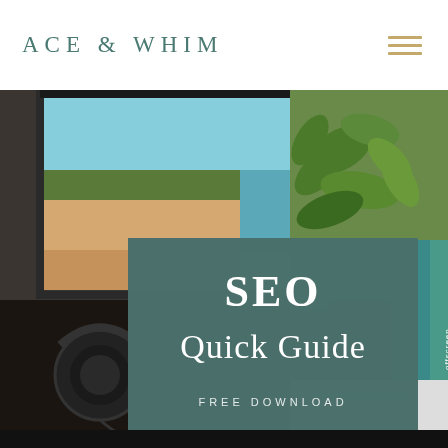ACE & WHIM
[Figure (photo): Collage photo of a desktop workspace: monitor showing a coastal landscape, green plant, books (including 'offscreen'), headphones on a dark desk, and a notebook/phone at the bottom.]
SEO
Quick Guide
FREE DOWNLOAD